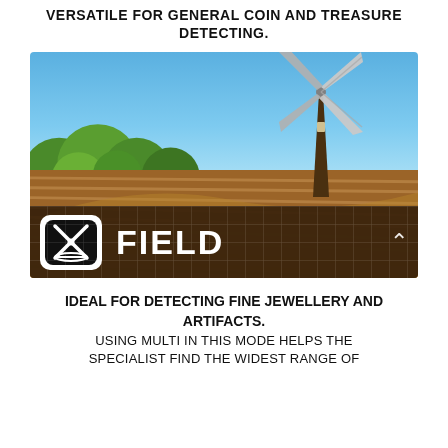VERSATILE FOR GENERAL COIN AND TREASURE DETECTING.
[Figure (photo): A windmill standing on a ploughed agricultural field with trees in the background and blue sky, with a FIELD mode overlay bar at the bottom showing a windmill icon and the word FIELD with an up arrow.]
IDEAL FOR DETECTING FINE JEWELLERY AND ARTIFACTS. USING MULTI IN THIS MODE HELPS THE SPECIALIST FIND THE WIDEST RANGE OF